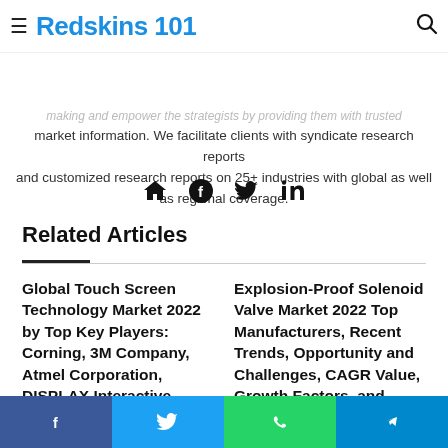≡ Redskins 101
Value Market Research
making and empower the strategists by providing them with trusted market information. We facilitate clients with syndicate research reports and customized research reports on 25+ industries with global as well as regional coverage.
Related Articles
Global Touch Screen Technology Market 2022 by Top Key Players: Corning, 3M Company, Atmel Corporation, DISPLAX Interactive Systems, Cypress Semiconductor
Explosion-Proof Solenoid Valve Market 2022 Top Manufacturers, Recent Trends, Opportunity and Challenges, CAGR Value, Growth Factors, and Forecast till 2028